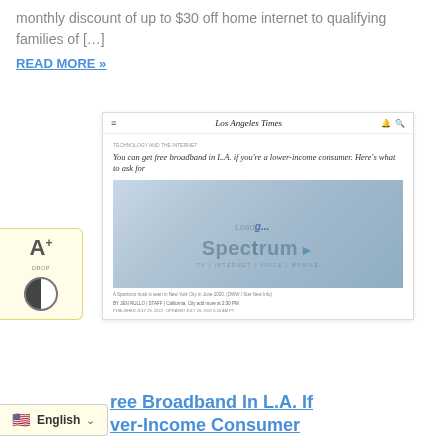monthly discount of up to $30 off home internet to qualifying families of […]
READ MORE »
[Figure (screenshot): Screenshot of Los Angeles Times article titled 'You can get free broadband in L.A. if you're a lower-income consumer. Here's what to ask for' with a photo of a Spectrum truck showing 'Spectrum TV | INTERNET | VOICE | MOBILE' with a loading indicator overlay.]
You Can Get Free Broadband In L.A. If You're A Lower-Income Consumer